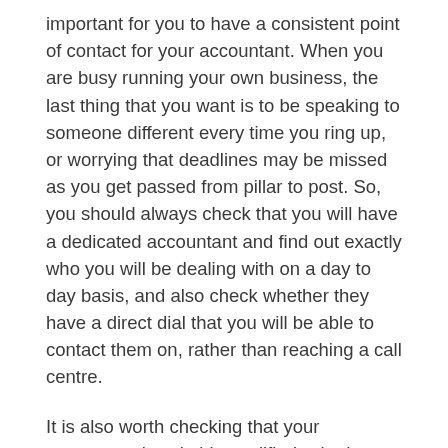important for you to have a consistent point of contact for your accountant. When you are busy running your own business, the last thing that you want is to be speaking to someone different every time you ring up, or worrying that deadlines may be missed as you get passed from pillar to post. So, you should always check that you will have a dedicated accountant and find out exactly who you will be dealing with on a day to day basis, and also check whether they have a direct dial that you will be able to contact them on, rather than reaching a call centre.
It is also worth checking that your accountant is suitably qualified, whether that be through years of experience, or professional qualifications such as AAT, ATT ACCA, ACA or CIPFA, and that they have good experience in the contractor market. You should also ensure that the accountancy practice itself is regulated.